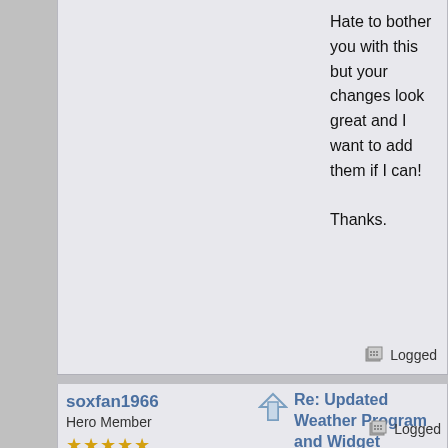Hate to bother you with this but your changes look great and I want to add them if I can!

Thanks.
Logged
soxfan1966
Hero Member
★★★★★
Helpful Post Rating: 3
Posts: 387
Re: Updated Weather Program and Widget
« Reply #3 on: December 16, 2020, 04:04:31 PM »
I may need to upload the most recent version of the program and widget but the both should show up in the lists if you added them.  Do you also have the jk utils solar utility program ?
Logged